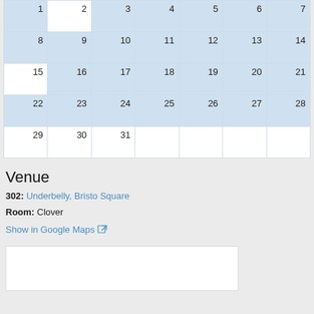| 1 | 2 | 3 | 4 | 5 | 6 | 7 |
| 8 | 9 | 10 | 11 | 12 | 13 | 14 |
| 15 | 16 | 17 | 18 | 19 | 20 | 21 |
| 22 | 23 | 24 | 25 | 26 | 27 | 28 |
| 29 | 30 | 31 |  |  |  |  |
Venue
302: Underbelly, Bristo Square
Room: Clover
Show in Google Maps
[Figure (map): Embedded Google Map placeholder showing venue location]